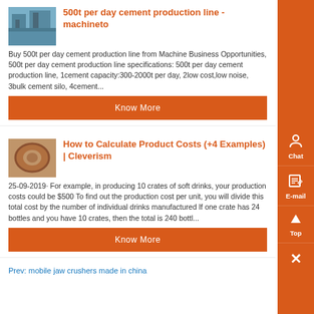[Figure (photo): Thumbnail image of industrial facility near water]
500t per day cement production line - machineto
Buy 500t per day cement production line from Machine Business Opportunities, 500t per day cement production line specifications: 500t per day cement production line, 1cement capacity:300-2000t per day, 2low cost,low noise, 3bulk cement silo, 4cement...
Know More
[Figure (photo): Thumbnail image of an orange/brown industrial ring or seal component]
How to Calculate Product Costs (+4 Examples) | Cleverism
25-09-2019· For example, in producing 10 crates of soft drinks, your production costs could be $500 To find out the production cost per unit, you will divide this total cost by the number of individual drinks manufactured If one crate has 24 bottles and you have 10 crates, then the total is 240 bottl...
Know More
Prev: mobile jaw crushers made in china